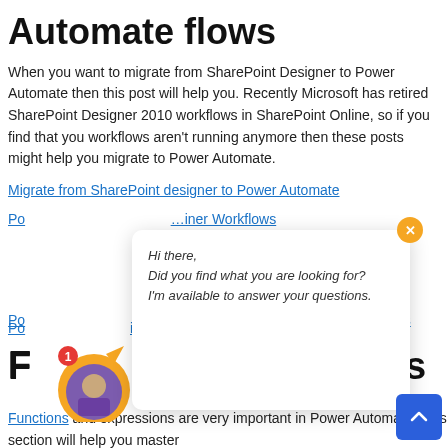Automate flows
When you want to migrate from SharePoint Designer to Power Automate then this post will help you. Recently Microsoft has retired SharePoint Designer 2010 workflows in SharePoint Online, so if you find that you workflows aren't running anymore then these posts might help you migrate to Power Automate.
Migrate from SharePoint designer to Power Automate
Power … iner Workflows
F… ressions
Functions and expressions are very important in Power Automate. This section will help you master
[Figure (screenshot): Chat popup overlay with orange X close button, showing text: Hi there, Did you find what you are looking for? I'm available to answer your questions. Below the popup is an avatar with an orange circular border and red notification badge showing 1.]